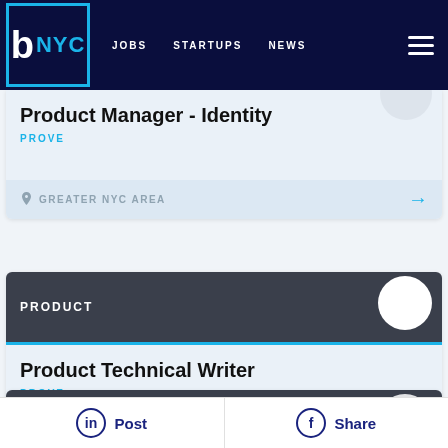BuiltInNYC — JOBS  STARTUPS  NEWS
Product Manager - Identity — PROVE — GREATER NYC AREA
PRODUCT — Product Technical Writer — PROVE — GREATER NYC AREA
SALES